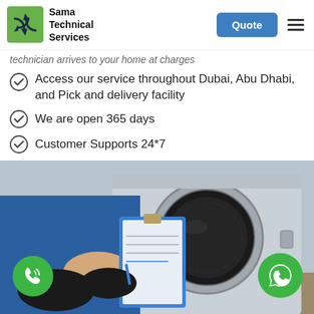Sama Technical Services | Quote
technician arrives to your home at charges
Access our service throughout Dubai, Abu Dhabi, and Pick and delivery facility
We are open 365 days
Customer Supports 24*7
[Figure (photo): A technician wearing black gloves holding a blue clipboard in front of an open washing machine drum. Green phone call button on lower left, green WhatsApp button on lower right.]